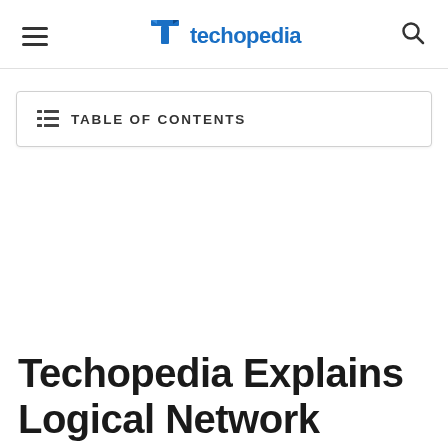techopedia
TABLE OF CONTENTS
Techopedia Explains Logical Network